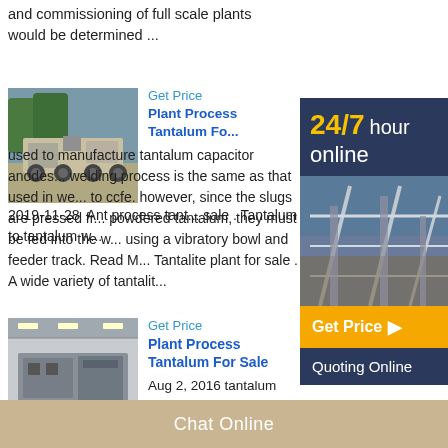and commissioning of full scale plants would be determined ...
Get Price
Plant Process Tantalum Fo...
[Figure (photo): Mobile crushing plant machinery on wheels outdoors with trees in background]
2019-11-28 Ant process tant... sale . Tantalum to tantalum w... used to manufacture tantalum capacitor anodes... welding process is the same as that used in we... to ccfe. however, since the slugs are pressed fr... powdered tantalum, they must be fed into the w... using a vibratory bowl and feeder track. Read M... Tantalite plant for sale . A wide variety of tantalit...
[Figure (photo): Industrial processing plant with conveyor belts and structural steel]
24/7 hour online
Get Price
Quoting Online
Get Price
Plant Process Tantalum For Sale
[Figure (photo): Large industrial machine in warehouse/factory setting]
Aug 2, 2016 tantalum processing plant in india, Grinding Mill China african
Chat Online